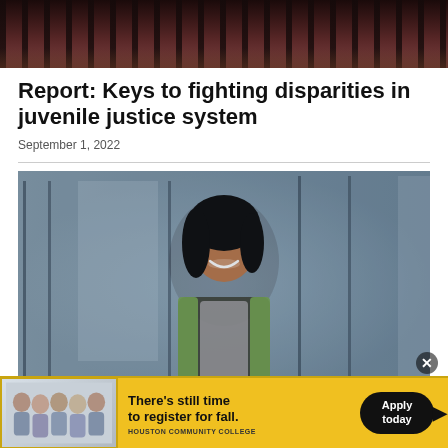[Figure (photo): Top portion of a photo showing what appears to be jail bars or dark architectural elements with brown/maroon tones]
Report: Keys to fighting disparities in juvenile justice system
September 1, 2022
[Figure (photo): Portrait photo of a smiling Black woman wearing a floral and green jacket, seated in a professional setting with glass windows in the background]
[Figure (other): Advertisement banner for Houston Community College with group photo of students and text: There's still time to register for fall. Apply today. Houston Community College]